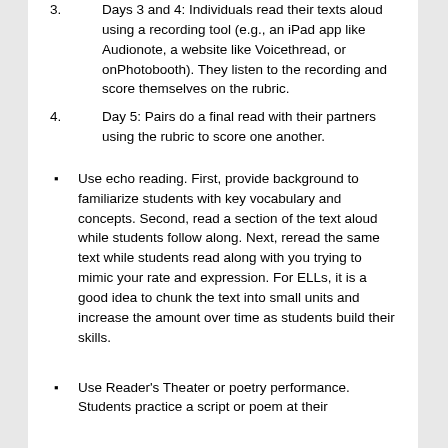Days 3 and 4: Individuals read their texts aloud using a recording tool (e.g., an iPad app like Audionote, a website like Voicethread, or onPhotobooth). They listen to the recording and score themselves on the rubric.
Day 5: Pairs do a final read with their partners using the rubric to score one another.
Use echo reading. First, provide background to familiarize students with key vocabulary and concepts. Second, read a section of the text aloud while students follow along. Next, reread the same text while students read along with you trying to mimic your rate and expression. For ELLs, it is a good idea to chunk the text into small units and increase the amount over time as students build their skills.
Use Reader's Theater or poetry performance. Students practice a script or poem at their